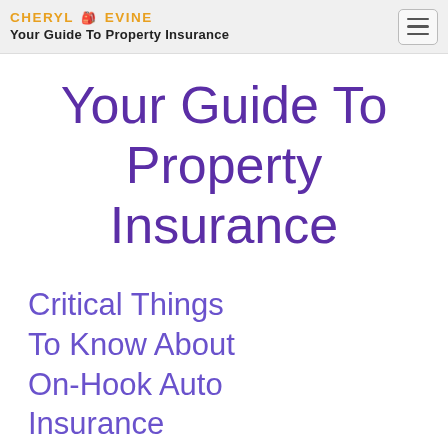CHERYL EVINE
Your Guide To Property Insurance
Your Guide To Property Insurance
Critical Things To Know About On-Hook Auto Insurance